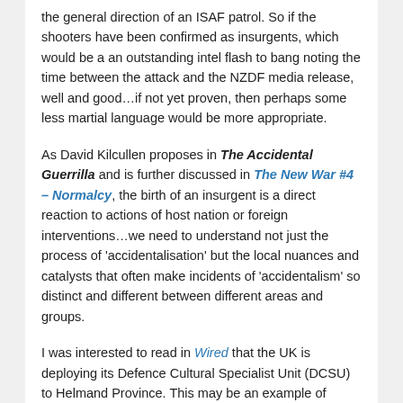the general direction of an ISAF patrol. So if the shooters have been confirmed as insurgents, which would be a an outstanding intel flash to bang noting the time between the attack and the NZDF media release, well and good…if not yet proven, then perhaps some less martial language would be more appropriate.
As David Kilcullen proposes in The Accidental Guerrilla and is further discussed in The New War #4 – Normalcy, the birth of an insurgent is a direct reaction to actions of host nation or foreign interventions…we need to understand not just the process of 'accidentalisation' but the local nuances and catalysts that often make incidents of 'accidentalism' so distinct and different between different areas and groups.
I was interested to read in Wired that the UK is deploying its Defence Cultural Specialist Unit (DCSU) to Helmand Province. This may be an example of learning from the experiences of others, specifically the US Army's Human Terrain Systems teams that have been operating for some